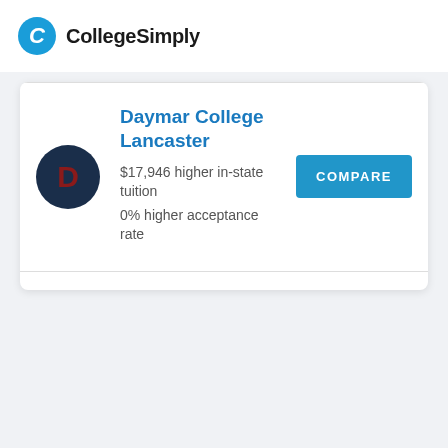CollegeSimply
Daymar College Lancaster
$17,946 higher in-state tuition
0% higher acceptance rate
COMPARE